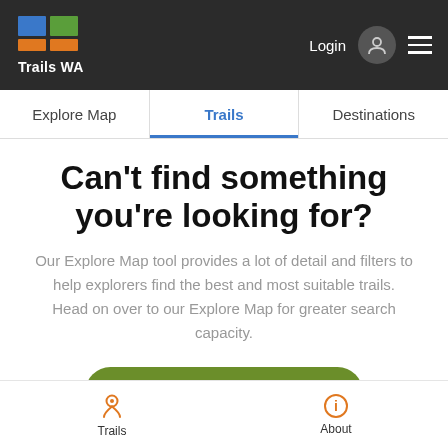Trails WA — Login | navigation menu
Explore Map | Trails | Destinations
Can't find something you're looking for?
Our Explore Map tool provides a lot of detail and filters to help explorers find the best and most suitable trails. Head on over to our Explore Map for greater search capacity.
Use the Explore Map
Trails | About